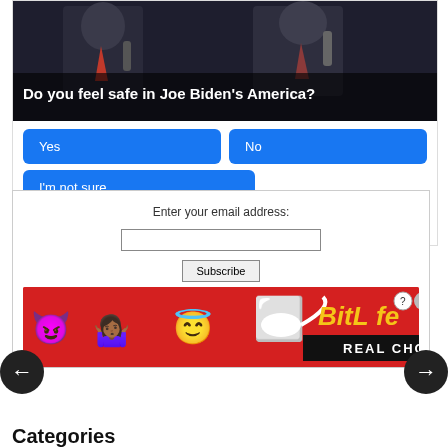[Figure (screenshot): Poll card showing two men at microphones with question 'Do you feel safe in Joe Biden's America?' and buttons Yes, No, I'm not sure, with 1,913 Votes and Sponsored Ad label]
Enter your email address:
[Figure (screenshot): Subscribe email input box with Subscribe button]
[Figure (advertisement): BitLife REAL CHOICES ad banner with emoji characters on red background]
Categories